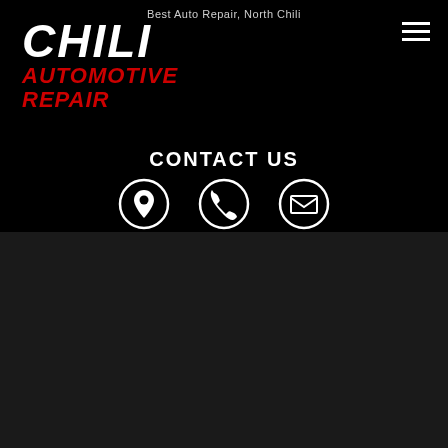Best Auto Repair, North Chili
CHILI AUTOMOTIVE REPAIR
CONTACT US
[Figure (infographic): Three circular icons in a row: location pin, phone handset, and envelope/mail, all white on black background]
[Figure (photo): Popup overlay showing Chili Automotive Repair diamond logo with bulldog mascot and wrench]
TAP TO CALL NOW
585-594-4444
BUY TIRES